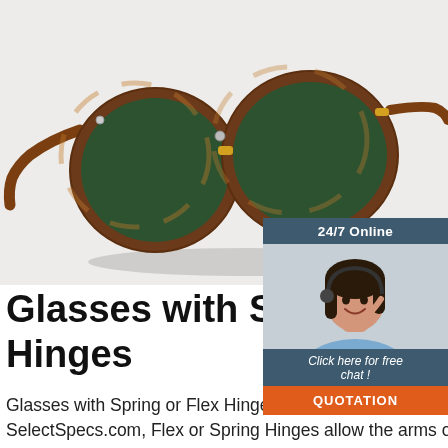[Figure (photo): Tortoiseshell round sunglasses with green lenses on a light grey/white background]
[Figure (infographic): 24/7 Online chat widget with a female customer service agent wearing a headset, a 'Click here for free chat!' link, and an orange QUOTATION button]
Glasses with Spring or Flex Hinges
Glasses with Spring or Flex Hinges. Flex Hinges are common on many of the glasses on SelectSpecs.com, Flex or Spring Hinges allow the arms on the glasses to move more freely when handling or wearing the glasses preventing breakages. All Glasses or Sunglasses displayed within this category feature frames with Spring Hinges or ...
[Figure (logo): TOP badge logo in orange and red with dots around it]